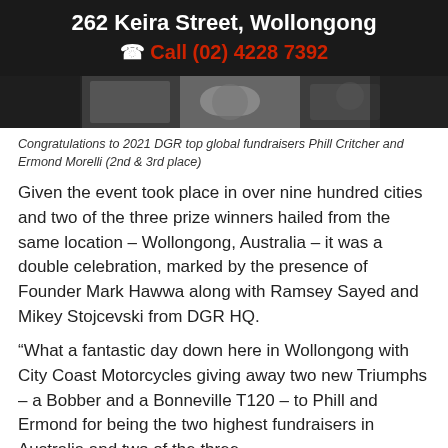262 Keira Street, Wollongong
☎ Call (02) 4228 7392
[Figure (photo): Photo strip showing motorcycles, partially cropped]
Congratulations to 2021 DGR top global fundraisers Phill Critcher and Ermond Morelli (2nd & 3rd place)
Given the event took place in over nine hundred cities and two of the three prize winners hailed from the same location – Wollongong, Australia – it was a double celebration, marked by the presence of Founder Mark Hawwa along with Ramsey Sayed and Mikey Stojcevski from DGR HQ.
“What a fantastic day down here in Wollongong with City Coast Motorcycles giving away two new Triumphs – a Bobber and a Bonneville T120 – to Phill and Ermond for being the two highest fundraisers in Australia and two of the three